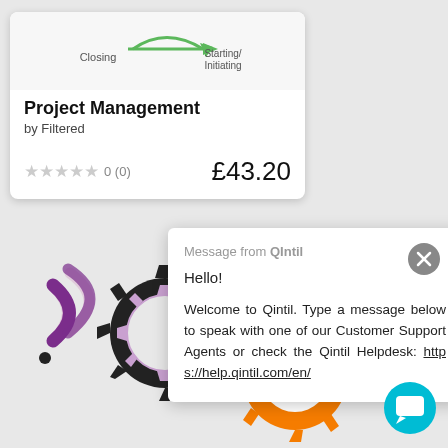[Figure (screenshot): Product card for 'Project Management by Filtered' showing a diagram with arrow from Closing to Starting/Initiating, star rating 0 (0), and price £43.20]
[Figure (screenshot): Chat popup message from QIntil saying Hello! and Welcome to Qintil message with helpdesk link]
[Figure (illustration): Background logo/illustration with wifi-like arc shapes in purple and pink, and gear icons in black and orange]
[Figure (illustration): Gray circular close button with X, and teal circular chat support icon at bottom right]